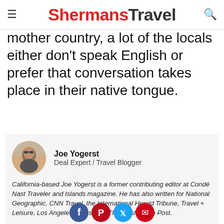ShermansTravel
mother country, a lot of the locals either don't speak English or prefer that conversation takes place in their native tongue.
[Figure (other): Author bio card with circular headshot of Joe Yogerst wearing sunglasses outdoors. Name: Joe Yogerst. Role: Deal Expert / Travel Blogger. Bio: California-based Joe Yogerst is a former contributing editor at Condé Nast Traveler and Islands magazine. He has also written for National Geographic, CNN Travel, the International Herald Tribune, Travel + Leisure, Los Angeles Times, and The Washington Post.]
[Figure (other): Social media icons row: Facebook (blue), Pinterest (red), Twitter (cyan), Email (red)]